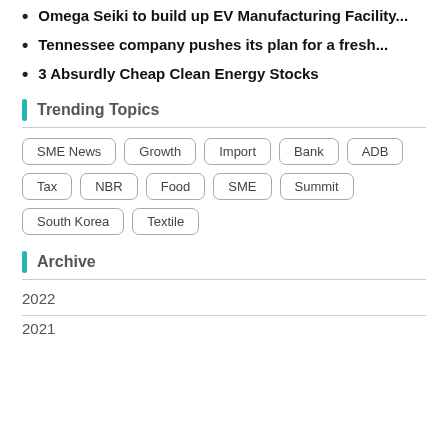Omega Seiki to build up EV Manufacturing Facility...
Tennessee company pushes its plan for a fresh...
3 Absurdly Cheap Clean Energy Stocks
Trending Topics
SME News | Growth | Import | Bank | ADB | Tax | NBR | Food | SME | Summit | South Korea | Textile
Archive
2022
2021